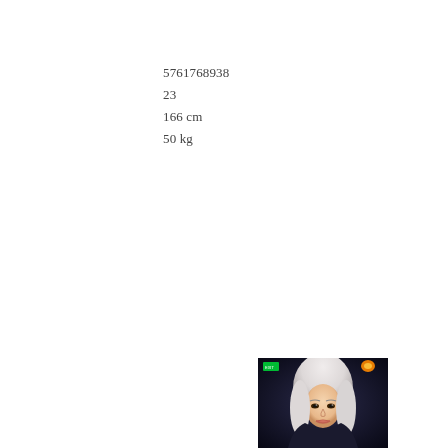5761768938
23
166 cm
50 kg
[Figure (photo): Photo of a woman with platinum blonde hair in a dark venue with green exit sign and orange light visible in background]